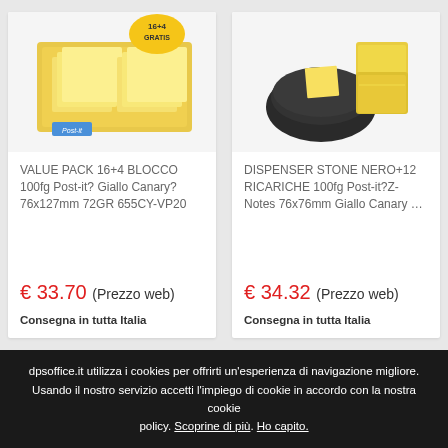[Figure (photo): Post-it VALUE PACK 16+4 yellow sticky notes box with '16+4 GRATIS' label]
VALUE PACK 16+4 BLOCCO 100fg Post-it? Giallo Canary? 76x127mm 72GR 655CY-VP20
€ 33.70 (Prezzo web)
Consegna in tutta Italia
[Figure (photo): Post-it DISPENSER STONE NERO black dispenser with yellow sticky note refills]
DISPENSER STONE NERO+12 RICARICHE 100fg Post-it?Z-Notes 76x76mm Giallo Canary …
€ 34.32 (Prezzo web)
Consegna in tutta Italia
dpsoffice.it utilizza i cookies per offrirti un'esperienza di navigazione migliore. Usando il nostro servizio accetti l'impiego di cookie in accordo con la nostra cookie policy. Scoprine di più. Ho capito.